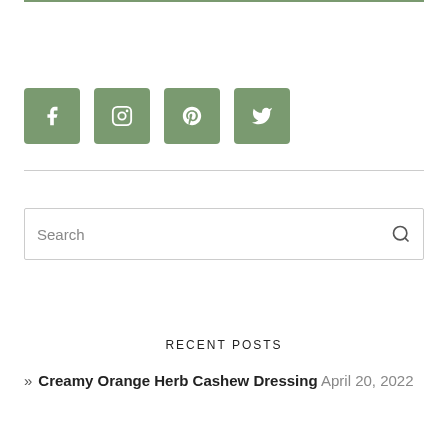[Figure (other): Social media icon buttons for Facebook, Instagram, Pinterest, and Twitter in sage green square tiles]
Search
RECENT POSTS
» Creamy Orange Herb Cashew Dressing April 20, 2022